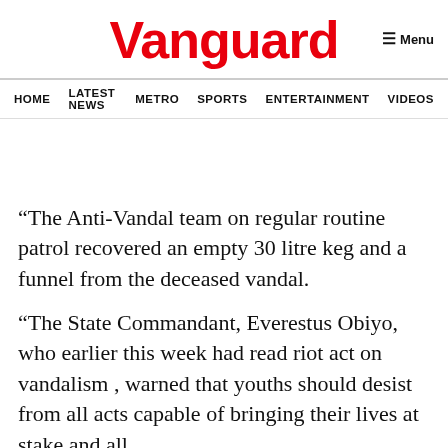Vanguard
Menu
HOME   LATEST NEWS   METRO   SPORTS   ENTERTAINMENT   VIDEOS
“The Anti-Vandal team on regular routine patrol recovered an empty 30 litre keg and a funnel from the deceased vandal.
“The State Commandant, Everestus Obiyo, who earlier this week had read riot act on vandalism , warned that youths should desist from all acts capable of bringing their lives at stake and all